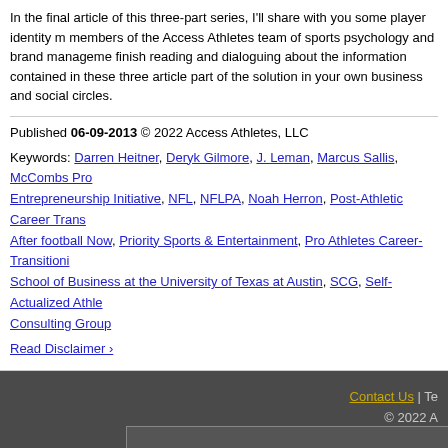In the final article of this three-part series, I'll share with you some player identity m... members of the Access Athletes team of sports psychology and brand management... finish reading and dialoguing about the information contained in these three articles... part of the solution in your own business and social circles.
Published 06-09-2013 © 2022 Access Athletes, LLC
Keywords: Darren Heitner, Deryk Gilmore, J. Leman, Marcus Sallis, McCombs Pro... Entrepreneurship Initiative, NFL, NFLPA, Noah Herron, Post-Athletic Career Trans... After football Now, Priority Sports & Entertainment, Pro Athletes Career-Transitioni... School of Business at the University of Texas at Austin, SCG, Self-Actualized Athle... Consulting Group
Read Disclaimer ›
Contact Us | Te... © 2022 A...